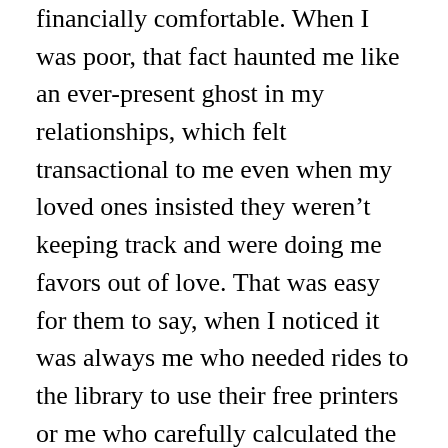financially comfortable. When I was poor, that fact haunted me like an ever-present ghost in my relationships, which felt transactional to me even when my loved ones insisted they weren't keeping track and were doing me favors out of love. That was easy for them to say, when I noticed it was always me who needed rides to the library to use their free printers or me who carefully calculated the cost of my meals and couldn't afford to split the check evenly.
This year, Macey and I are celebrating our first holiday season as wives, three months after our wedding. In wedding planning, we were both clear: We wouldn't let any insecurities or the grim hand of capitalism make us feel like we had to do anything we couldn't or didn't want to afford, and we didn't go into debt to pay for any of it. Even if it meant we had to answer questions about